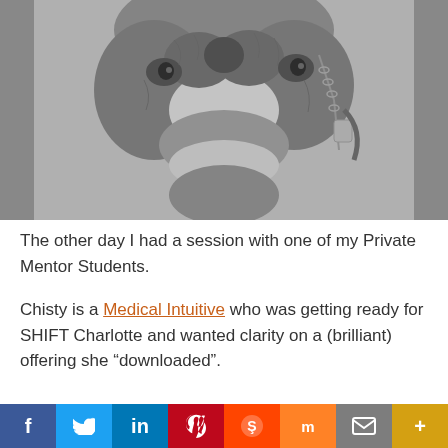[Figure (photo): Close-up black and white photograph of a camel's face, showing its nose, lips, eye, and part of a harness with chain detail on the right side.]
The other day I had a session with one of my Private Mentor Students.
Chisty is a Medical Intuitive who was getting ready for SHIFT Charlotte and wanted clarity on a (brilliant) offering she “downloaded”.
f  Twitter  in  Pinterest  Reddit  Mix  Mail  More